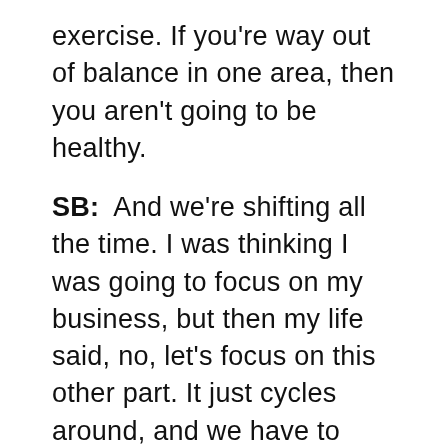exercise. If you're way out of balance in one area, then you aren't going to be healthy.
SB:  And we're shifting all the time. I was thinking I was going to focus on my business, but then my life said, no, let's focus on this other part. It just cycles around, and we have to really honor where we're at. It's about patience, and that's what I love about the idea of your ten year goals and dreams.
CO: Exactly. Even though I have to tweak my shorter term goals thanks to